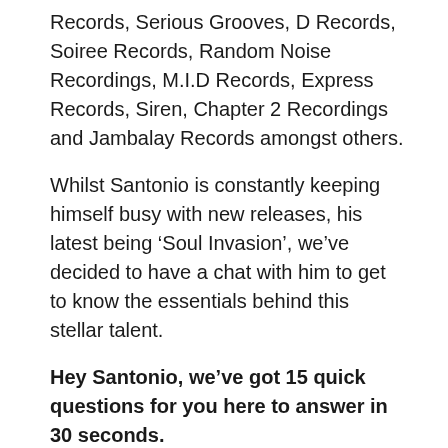Records, Serious Grooves, D Records, Soiree Records, Random Noise Recordings, M.I.D Records, Express Records, Siren, Chapter 2 Recordings and Jambalay Records amongst others.
Whilst Santonio is constantly keeping himself busy with new releases, his latest being ‘Soul Invasion’, we’ve decided to have a chat with him to get to know the essentials behind this stellar talent.
Hey Santonio, we’ve got 15 quick questions for you here to answer in 30 seconds.
I started DJing and producing since…